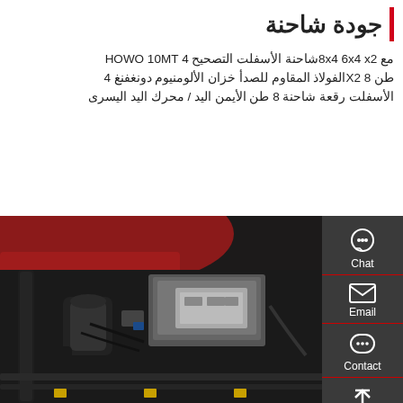جودة شاحنة
مع 8x4 6x4 x2شاحنة الأسفلت التصحيح 4 HOWO 10MT طن 8 X2الفولاذ المقاوم للصدأ خزان الألومنيوم دونغفنغ 4 الأسفلت رقعة شاحنة 8 طن الأيمن اليد / محرك اليد اليسرى
Get a Quote
[Figure (photo): Engine compartment of a truck showing mechanical components including engine, cables, and chassis parts. The truck body is red/maroon colored.]